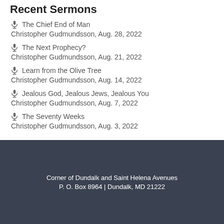Recent Sermons
The Chief End of Man
Christopher Gudmundsson, Aug. 28, 2022
The Next Prophecy?
Christopher Gudmundsson, Aug. 21, 2022
Learn from the Olive Tree
Christopher Gudmundsson, Aug. 14, 2022
Jealous God, Jealous Jews, Jealous You
Christopher Gudmundsson, Aug. 7, 2022
The Seventy Weeks
Christopher Gudmundsson, Aug. 3, 2022
Corner of Dundalk and Saint Helena Avenues
P. O. Box 8964 | Dundalk, MD 21222